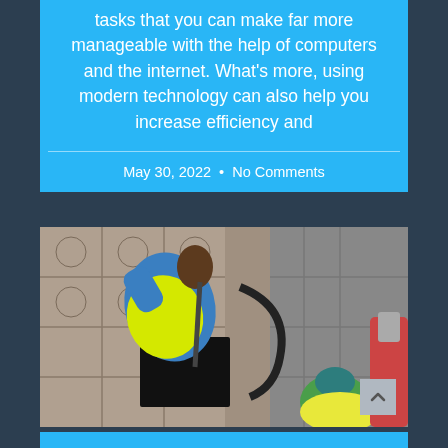tasks that you can make far more manageable with the help of computers and the internet. What's more, using modern technology can also help you increase efficiency and
May 30, 2022  •  No Comments
[Figure (photo): Two workers in high-visibility yellow vests working on a manhole or underground utility access point. One worker bends over the opening holding a tool, the other is visible in the lower right. The background shows decorative tiled pavement.]